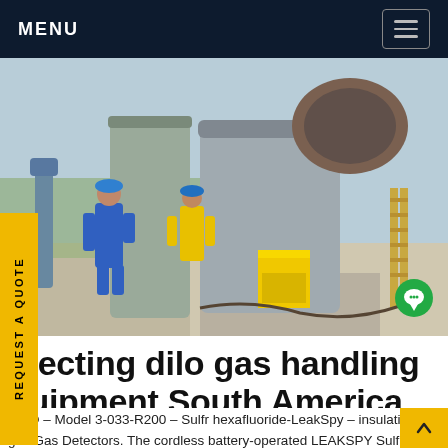MENU
[Figure (photo): Workers in blue coveralls and safety gear working on large industrial gas handling equipment outdoors. Yellow step stool visible in foreground. Large cylindrical grey machinery and piping in background with green grass and construction site.]
etecting dilo gas handling quipment South America
DILO – Model 3-033-R200 – Sulfr hexafluoride-LeakSpy – insulating gas Gas Detectors. The cordless battery-operated LEAKSPY Sulfr hexafluoride precisely measures of C concentration in air by